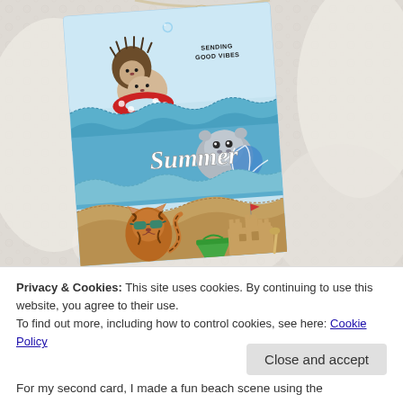[Figure (photo): A handmade summer greeting card displayed on a white lace background. The card features cartoon animals at the beach: two stacked hedgehogs in a red polka-dot inner tube floating in water, a hippo with a beach ball, a tiger wearing teal sunglasses on the sandy beach with a sandcastle and beach bucket. The card reads 'SENDING GOOD VIBES' and features a cursive 'Summer' die-cut.]
Privacy & Cookies: This site uses cookies. By continuing to use this website, you agree to their use.
To find out more, including how to control cookies, see here: Cookie Policy
Close and accept
For my second card, I made a fun beach scene using the